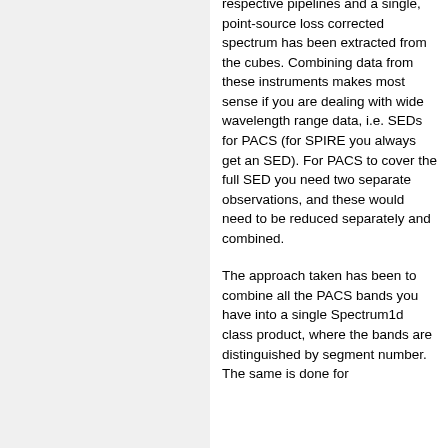respective pipelines and a single, point-source loss corrected spectrum has been extracted from the cubes. Combining data from these instruments makes most sense if you are dealing with wide wavelength range data, i.e. SEDs for PACS (for SPIRE you always get an SED). For PACS to cover the full SED you need two separate observations, and these would need to be reduced separately and combined.
The approach taken has been to combine all the PACS bands you have into a single Spectrum1d class product, where the bands are distinguished by segment number. The same is done for